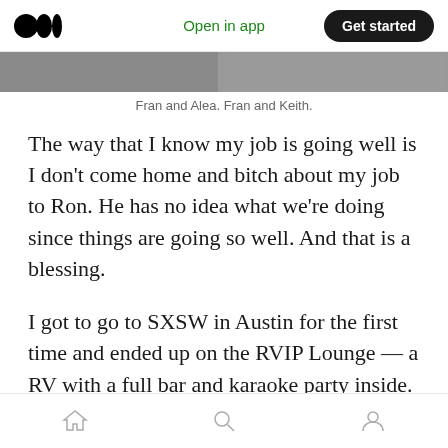Medium logo | Open in app | Get started
[Figure (photo): Two cropped photo thumbnails side by side showing people: Fran and Alea, and Fran and Keith]
Fran and Alea. Fran and Keith.
The way that I know my job is going well is I don't come home and bitch about my job to Ron. He has no idea what we're doing since things are going so well. And that is a blessing.
I got to go to SXSW in Austin for the first time and ended up on the RVIP Lounge — a RV with a full bar and karaoke party inside. I completely crashed and burned with a rendition of 'Material' Girl.' I started an octave too low.
Home | Search | Profile navigation icons